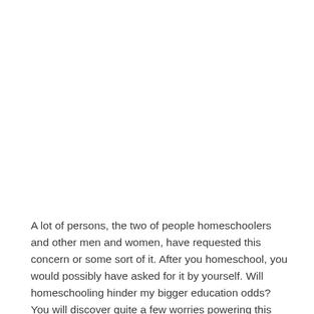A lot of persons, the two of people homeschoolers and other men and women, have requested this concern or some sort of it. After you homeschool, you would possibly have asked for it by yourself. Will homeschooling hinder my bigger education odds? You will discover quite a few worries powering this dilemma that you just have to deal with initial, but inside the stop, homeschooling doesn'tThe underlying worry, as well as the one particular that